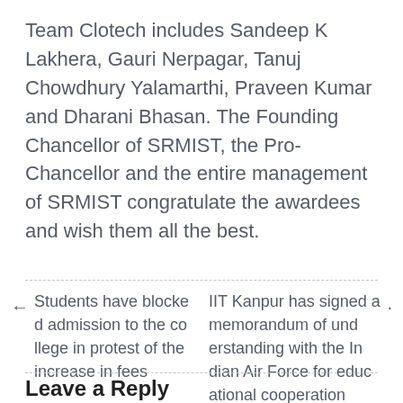Team Clotech includes Sandeep K Lakhera, Gauri Nerpagar, Tanuj Chowdhury Yalamarthi, Praveen Kumar and Dharani Bhasan. The Founding Chancellor of SRMIST, the Pro-Chancellor and the entire management of SRMIST congratulate the awardees and wish them all the best.
← Students have blocked admission to the college in protest of the increase in fees
IIT Kanpur has signed a memorandum of understanding with the Indian Air Force for educational cooperation ·
Leave a Reply